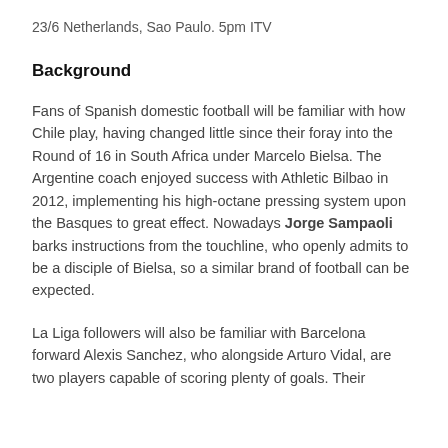23/6 Netherlands, Sao Paulo. 5pm ITV
Background
Fans of Spanish domestic football will be familiar with how Chile play, having changed little since their foray into the Round of 16 in South Africa under Marcelo Bielsa. The Argentine coach enjoyed success with Athletic Bilbao in 2012, implementing his high-octane pressing system upon the Basques to great effect. Nowadays Jorge Sampaoli barks instructions from the touchline, who openly admits to be a disciple of Bielsa, so a similar brand of football can be expected.
La Liga followers will also be familiar with Barcelona forward Alexis Sanchez, who alongside Arturo Vidal, are two players capable of scoring plenty of goals. Their